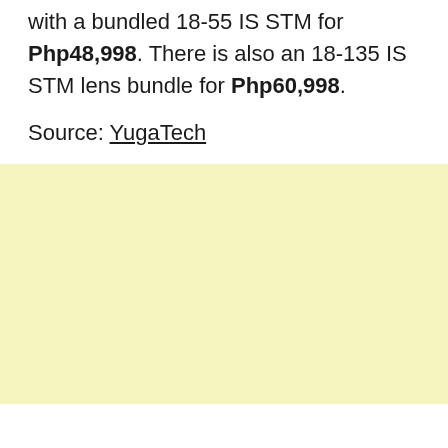with a bundled 18-55 IS STM for Php48,998. There is also an 18-135 IS STM lens bundle for Php60,998.
Source: YugaTech
[Figure (other): Light yellow/cream colored advertisement or sidebar block]